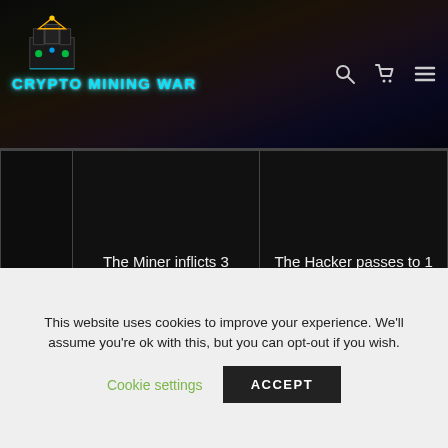CRYPTO MINING WAR
|  | The Miner inflicts 3 points of damage to the Hacker. | The Hacker passes to 1 life point (4 – 3 points of damage) |
| --- | --- | --- |
The attacking card (Hacker) is then engaged (rotated horizontally) and can no longer attack this turn .
Card life points are only restored at the end of each round
This website uses cookies to improve your experience. We'll assume you're ok with this, but you can opt-out if you wish.